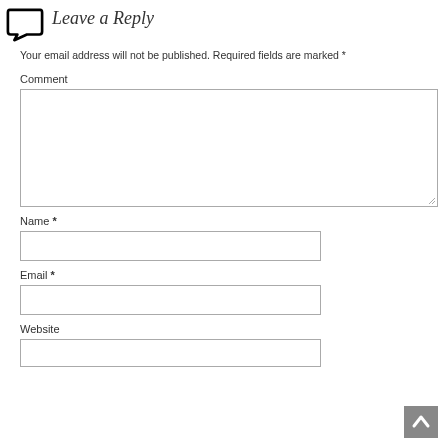Leave a Reply
Your email address will not be published. Required fields are marked *
Comment
[Figure (other): Comment text area input box, large rectangle with resize handle]
Name *
[Figure (other): Name text input field]
Email *
[Figure (other): Email text input field]
Website
[Figure (other): Website text input field (partial)]
[Figure (other): Back to top button with upward chevron arrow]